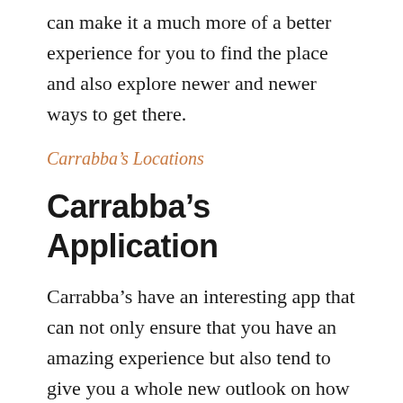can make it a much more of a better experience for you to find the place and also explore newer and newer ways to get there.
Carrabba's Locations
Carrabba's Application
Carrabba's have an interesting app that can not only ensure that you have an amazing experience but also tend to give you a whole new outlook on how you can get around the app itself. Other than this you and pay for your order online without paying any substantial cash and have the food delivered to your doorstep. Also, the app will notify you